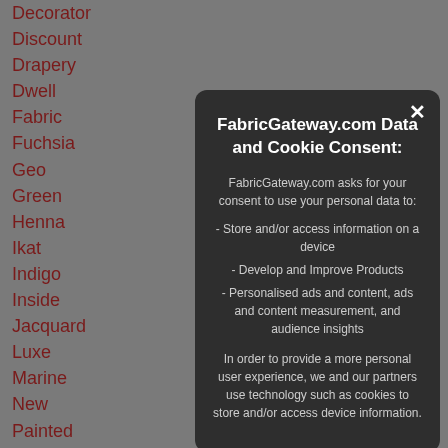Decorator
Discount
Drapery
Dwell
Fabric
Fuchsia
Geo
Green
Henna
Ikat
Indigo
Inside
Jacquard
Luxe
Marine
New
Painted
Pewter
Plaid
Poppy
Rain
Slub
Trellis
FabricGateway.com Data and Cookie Consent:
FabricGateway.com asks for your consent to use your personal data to:
- Store and/or access information on a device
- Develop and Improve Products
- Personalised ads and content, ads and content measurement, and audience insights

In order to provide a more personal user experience, we and our partners use technology such as cookies to store and/or access device information.